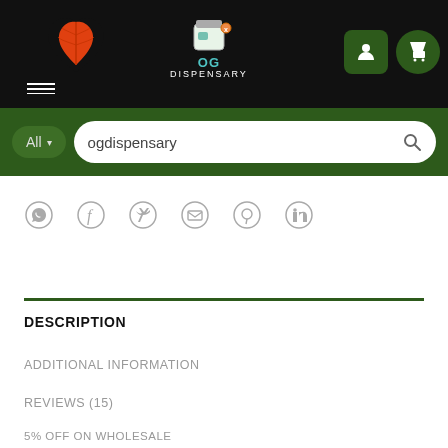[Figure (screenshot): Website navigation bar with OG Dispensary logo, user and cart icons on black background]
[Figure (screenshot): Green search bar with All dropdown and ogdispensary search text]
[Figure (screenshot): Social share icons row: WhatsApp, Facebook, Twitter, Email, Pinterest, LinkedIn]
DESCRIPTION
ADDITIONAL INFORMATION
REVIEWS (15)
5% OFF ON WHOLESALE